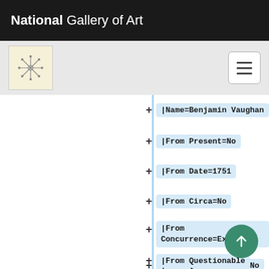National Gallery of Art
[Figure (screenshot): National Gallery of Art website screenshot showing a tree/structured data view with expandable nodes listing provenance fields: Name=Benjamin Vaughan, From Present=No, From Date=1751, From Circa=No, From Concurrence=Exact, From Questionable=No, From HasEndDate=No, From Present End=No, From Circa End=N..., From Questionable...]
|Name=Benjamin Vaughan
|From Present=No
|From Date=1751
|From Circa=No
|From Concurrence=Exact
|From Questionable=No
|From HasEndDate=No
|From Present End=No
|From Circa End=N...
|From Questionable